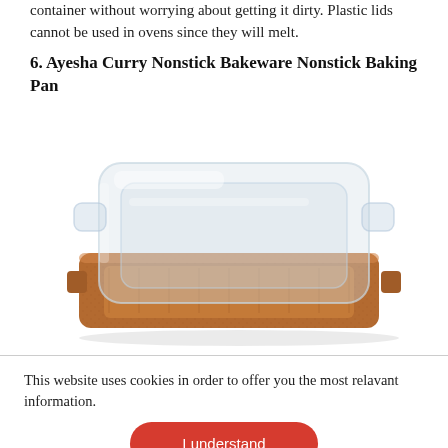container without worrying about getting it dirty. Plastic lids cannot be used in ovens since they will melt.
6. Ayesha Curry Nonstick Bakeware Nonstick Baking Pan
[Figure (photo): A copper/bronze colored rectangular baking pan with a clear plastic lid placed on top of it, shown at an angle.]
This website uses cookies in order to offer you the most relavant information.
[Figure (other): Red rounded rectangle button with white text reading 'I understand']